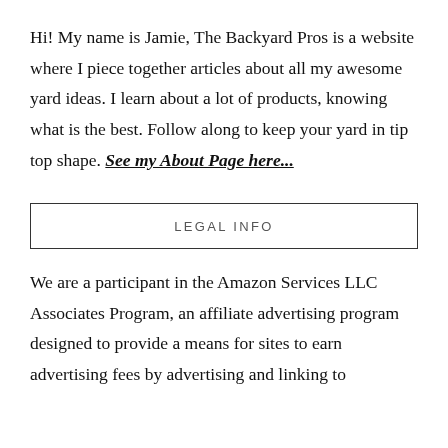Hi! My name is Jamie, The Backyard Pros is a website where I piece together articles about all my awesome yard ideas. I learn about a lot of products, knowing what is the best. Follow along to keep your yard in tip top shape. See my About Page here...
LEGAL INFO
We are a participant in the Amazon Services LLC Associates Program, an affiliate advertising program designed to provide a means for sites to earn advertising fees by advertising and linking to